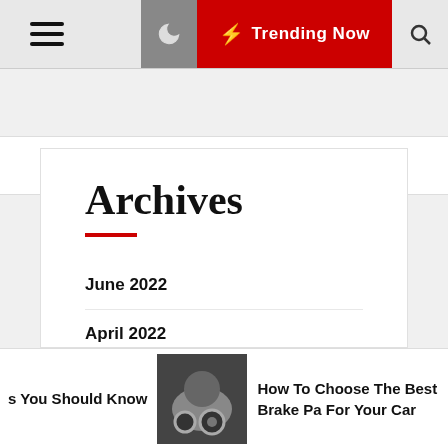☰  🌙  ⚡ Trending Now  🔍
House & Home Improvement
Archives
June 2022
April 2022
August 2021
June 2021
s You Should Know   How To Choose The Best Brake Pa For Your Car